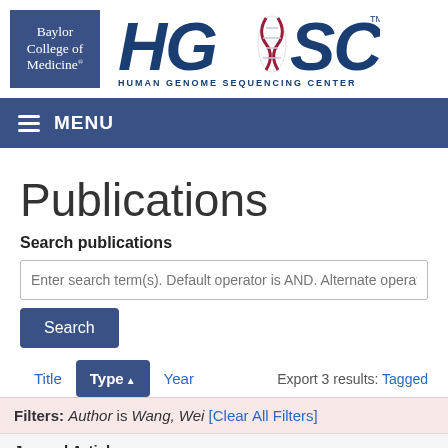[Figure (logo): Baylor College of Medicine logo (blue box) and HGSC Human Genome Sequencing Center logo side by side]
MENU
Publications
Search publications
Enter search term(s). Default operator is AND. Alternate operate
Search
Title   Type▲   Year   Export 3 results: Tagged
Filters: Author is Wang, Wei [Clear All Filters]
Journal Article